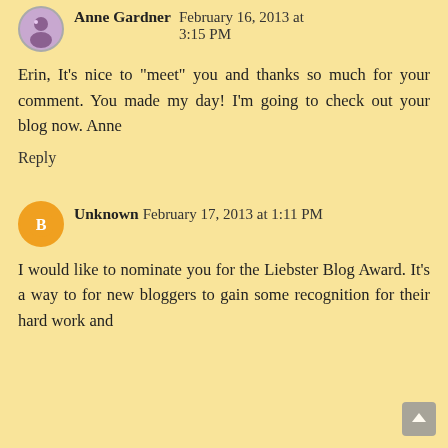Anne Gardner   February 16, 2013 at 3:15 PM
Erin, It's nice to "meet" you and thanks so much for your comment. You made my day! I'm going to check out your blog now. Anne
Reply
Unknown   February 17, 2013 at 1:11 PM
I would like to nominate you for the Liebster Blog Award. It's a way to for new bloggers to gain some recognition for their hard work and